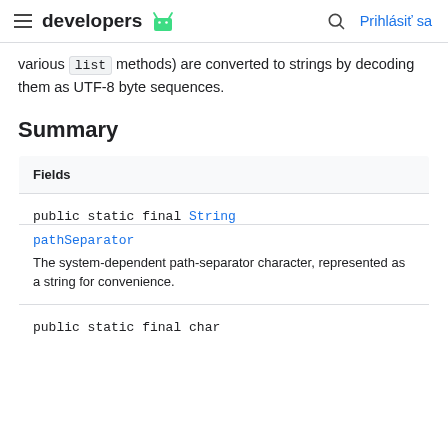developers  [Android logo]   [search icon]   Prihlásiť sa
various list methods) are converted to strings by decoding them as UTF-8 byte sequences.
Summary
| Fields |
| --- |
| public static final String | pathSeparator | The system-dependent path-separator character, represented as a string for convenience. |
| public static final char |  |  |